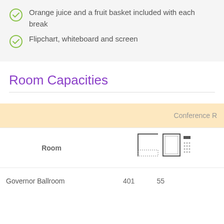Orange juice and a fruit basket included with each break
Flipchart, whiteboard and screen
Room Capacities
| Room | Conference R… |
| --- | --- |
| Governor Ballroom | 401 | 55 |